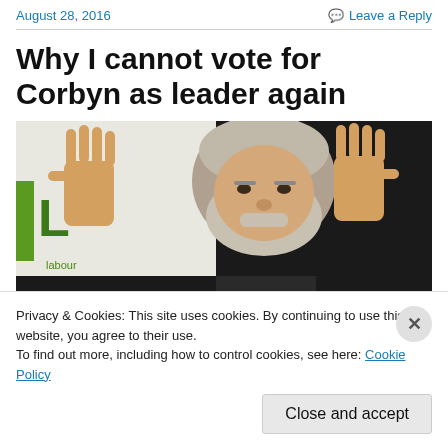August 28, 2016
Leave a Reply
Why I cannot vote for Corbyn as leader again
[Figure (photo): Photo of Jeremy Corbyn with both hands raised, palm outward, against a dark background with a white screen/banner visible behind him.]
Privacy & Cookies: This site uses cookies. By continuing to use this website, you agree to their use.
To find out more, including how to control cookies, see here: Cookie Policy
Close and accept